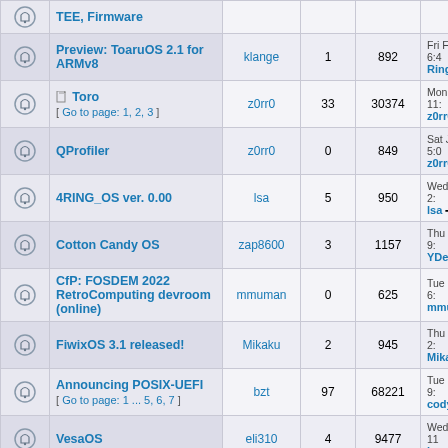|  | Topic | Author | Replies | Views | Last post |
| --- | --- | --- | --- | --- | --- |
|  | TEE, Firmware |  |  |  |  |
|  | Preview: ToaruOS 2.1 for ARMv8 | klange | 1 | 892 | Fri Feb 04, 2022 6:4 Ringding →□ |
|  | Toro [ Go to page: 1, 2, 3 ] | z0rr0 | 33 | 30374 | Mon Jan 31, 2022 11: z0rr0 →□ |
|  | QProfiler | z0rr0 | 0 | 849 | Sat Jan 08, 2022 5:0 z0rr0 →□ |
|  | 4RING_OS ver. 0.00 | lsa | 5 | 950 | Wed Dec 29, 2021 2: lsa →□ |
|  | Cotton Candy OS | zap8600 | 3 | 1157 | Thu Dec 23, 2021 9: YDeeps1 →□ |
|  | CfP: FOSDEM 2022 RetroComputing devroom (online) | mmuman | 0 | 625 | Tue Dec 14, 2021 6: mmuman →□ |
|  | FiwixOS 3.1 released! | Mikaku | 2 | 945 | Thu Dec 09, 2021 2: Mikaku →□ |
|  | Announcing POSIX-UEFI [ Go to page: 1 ... 5, 6, 7 ] | bzt | 97 | 68221 | Tue Nov 09, 2021 9: codyd51 →□ |
|  | VesaOS | eli310 | 4 | 9477 | Wed Oct 27, 2021 11 iansjack →□ |